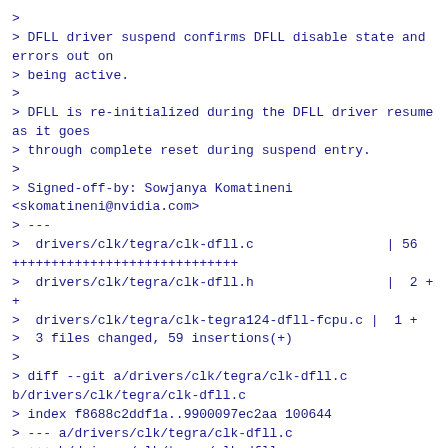>
> DFLL driver suspend confirms DFLL disable state and errors out on
> being active.
>
> DFLL is re-initialized during the DFLL driver resume as it goes
> through complete reset during suspend entry.
>
> Signed-off-by: Sowjanya Komatineni <skomatineni@nvidia.com>
> ---
>  drivers/clk/tegra/clk-dfll.c                 | 56 ++++++++++++++++++++++++++++
>  drivers/clk/tegra/clk-dfll.h                 |  2 ++
>  drivers/clk/tegra/clk-tegra124-dfll-fcpu.c |  1 +
>  3 files changed, 59 insertions(+)
>
> diff --git a/drivers/clk/tegra/clk-dfll.c b/drivers/clk/tegra/clk-dfll.c
> index f8688c2ddf1a..9900097ec2aa 100644
> --- a/drivers/clk/tegra/clk-dfll.c
> +++ b/drivers/clk/tegra/clk-dfll.c
> @@ -1513,6 +1513,62 @@ static int dfll_init(struct tegra_dfll *td)
>         return ret;
>  }
>
> +/**
> + * tegra dfll suspend - check DFLL is disabled